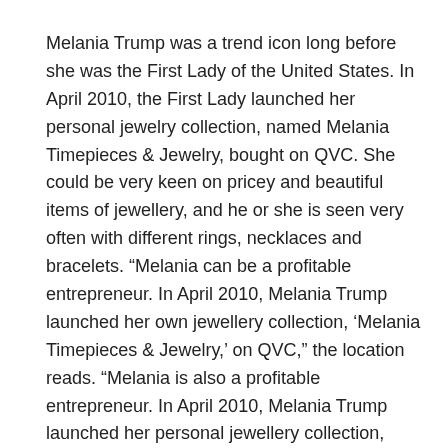Melania Trump was a trend icon long before she was the First Lady of the United States. In April 2010, the First Lady launched her personal jewelry collection, named Melania Timepieces & Jewelry, bought on QVC. She could be very keen on pricey and beautiful items of jewellery, and he or she is seen very often with different rings, necklaces and bracelets. “Melania can be a profitable entrepreneur. In April 2010, Melania Trump launched her own jewellery collection, ‘Melania Timepieces & Jewelry,’ on QVC,” the location reads. “Melania is also a profitable entrepreneur. In April 2010, Melania Trump launched her personal jewellery collection, ‘Melania™ Timepieces & Jewelry,’ on QVC,” the positioning reads.
Ivanka Trump mentioned that despite the plain parallels between her jewellery collection and her stepmother’s, the two by no means discussed their work, much much less